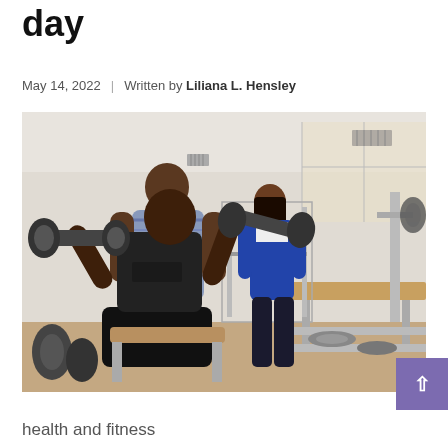day
May 14, 2022 | Written by Liliana L. Hensley
[Figure (photo): A man sitting and doing bicep curls with dumbbells in a gym, with two other people standing nearby, one in a striped shirt and one in a blue jacket. Gym equipment and weights visible in background.]
health and fitness